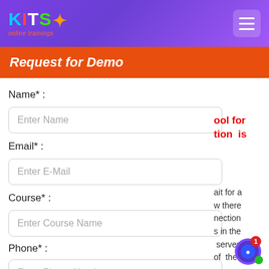KITS online trainings
Request for Demo
tool for ction is
ait for a w there nection s in the server of the
Name* :
Enter Name
Email* :
Enter E-Mail
Course* :
Enter Course Name
Phone* :
Enter Phone Number
single